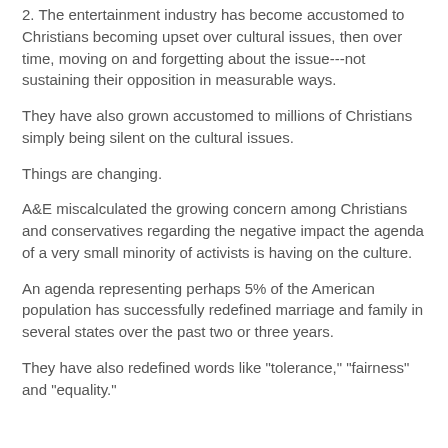2. The entertainment industry has become accustomed to Christians becoming upset over cultural issues, then over time, moving on and forgetting about the issue---not sustaining their opposition in measurable ways.
They have also grown accustomed to millions of Christians simply being silent on the cultural issues.
Things are changing.
A&E miscalculated the growing concern among Christians and conservatives regarding the negative impact the agenda of a very small minority of activists is having on the culture.
An agenda representing perhaps 5% of the American population has successfully redefined marriage and family in several states over the past two or three years.
They have also redefined words like "tolerance," "fairness" and "equality."